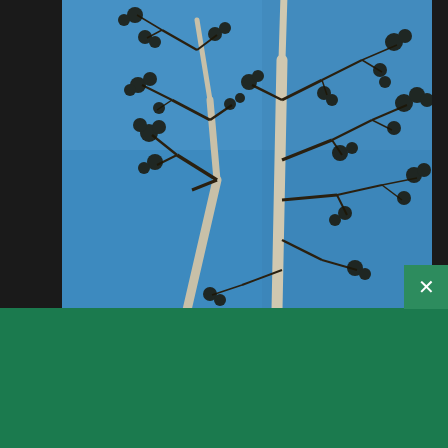[Figure (photo): Photo of bare tree branches with small clusters of buds/leaves against a clear blue sky, viewed from below looking up. Two main pale-barked tree trunks branch into many dark thin branches with small dark leaf clusters at the tips.]
[Figure (logo): Shopify logo: white shopping bag icon with an 'S' on it followed by the word 'shopify' in white text on green background]
Need an online store for your business?
Start free trial